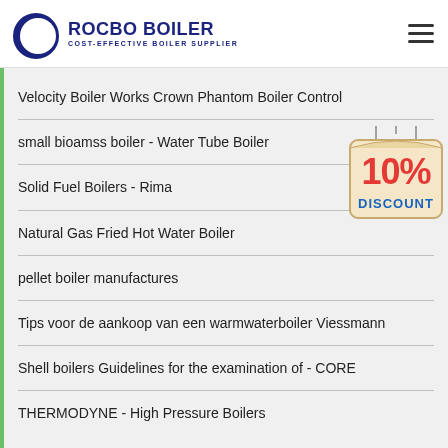ROCBO BOILER — COST-EFFECTIVE BOILER SUPPLIER
Velocity Boiler Works Crown Phantom Boiler Control
small bioamss boiler - Water Tube Boiler
Solid Fuel Boilers - Rima
Natural Gas Fried Hot Water Boiler
pellet boiler manufactures
Tips voor de aankoop van een warmwaterboiler Viessmann
Shell boilers Guidelines for the examination of - CORE
THERMODYNE - High Pressure Boilers
[Figure (illustration): 10% DISCOUNT sign hanging badge in red and yellow colors]